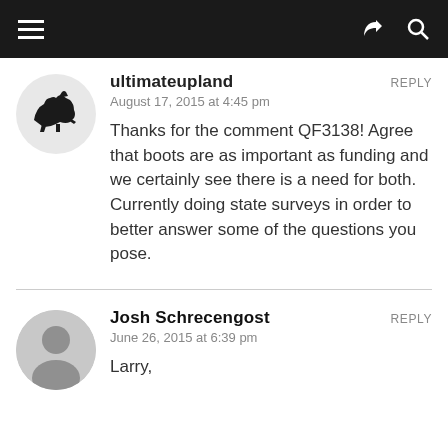Navigation bar with hamburger menu, share icon, and search icon
ultimateupland
August 17, 2015 at 4:45 pm
Thanks for the comment QF3138! Agree that boots are as important as funding and we certainly see there is a need for both. Currently doing state surveys in order to better answer some of the questions you pose.
Josh Schrecengost
June 26, 2015 at 6:39 pm
Larry,